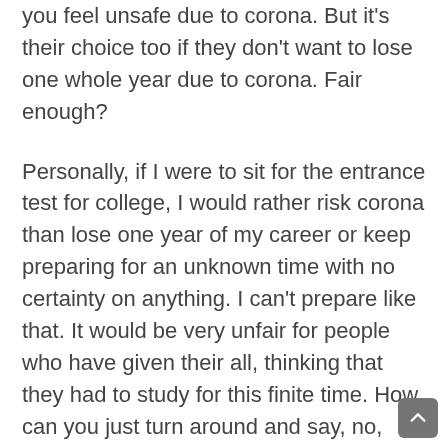you feel unsafe due to corona. But it's their choice too if they don't want to lose one whole year due to corona. Fair enough?
Personally, if I were to sit for the entrance test for college, I would rather risk corona than lose one year of my career or keep preparing for an unknown time with no certainty on anything. I can't prepare like that. It would be very unfair for people who have given their all, thinking that they had to study for this finite time. How can you just turn around and say, no, keep studying, until, we will tell you, maybe keep studying for the next one year?
And until when can you keep everyone locked inside? The economy is dead. Do you want education to go